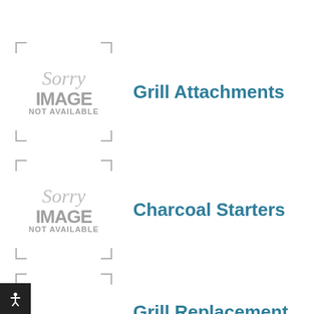[Figure (illustration): Image placeholder with corner brackets and 'Sorry IMAGE NOT AVAILABLE' text for Grill Attachments category]
Grill Attachments
[Figure (illustration): Image placeholder with corner brackets and 'Sorry IMAGE NOT AVAILABLE' text for Charcoal Starters category]
Charcoal Starters
[Figure (illustration): Image placeholder with corner brackets and 'Sorry IMAGE NOT AVAILABLE' text for Grill Replacement Parts category]
Grill Replacement Parts